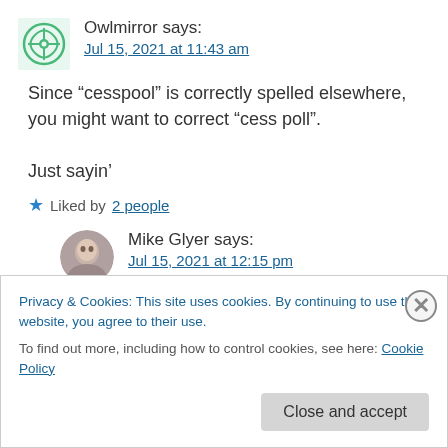Owlmirror says: Jul 15, 2021 at 11:43 am
Since “cesspool” is correctly spelled elsewhere, you might want to correct “ess poll”.

Just sayin’
★ Liked by 2 people
Mike Glyer says: Jul 15, 2021 at 12:15 pm
But that’s a typo that should be saved as
Privacy & Cookies: This site uses cookies. By continuing to use this website, you agree to their use.
To find out more, including how to control cookies, see here: Cookie Policy
Close and accept